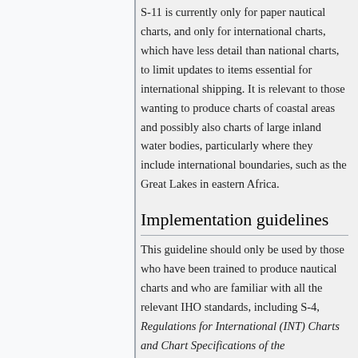S-11 is currently only for paper nautical charts, and only for international charts, which have less detail than national charts, to limit updates to items essential for international shipping. It is relevant to those wanting to produce charts of coastal areas and possibly also charts of large inland water bodies, particularly where they include international boundaries, such as the Great Lakes in eastern Africa.
Implementation guidelines
This guideline should only be used by those who have been trained to produce nautical charts and who are familiar with all the relevant IHO standards, including S-4, Regulations for International (INT) Charts and Chart Specifications of the